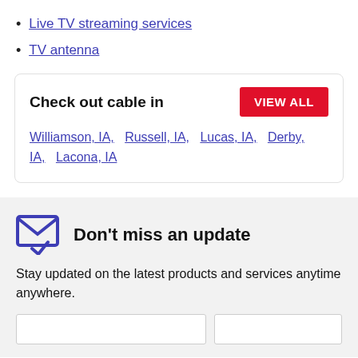Live TV streaming services
TV antenna
Check out cable in   VIEW ALL
Williamson, IA,   Russell, IA,   Lucas, IA,   Derby, IA,   Lacona, IA
Don't miss an update
Stay updated on the latest products and services anytime anywhere.